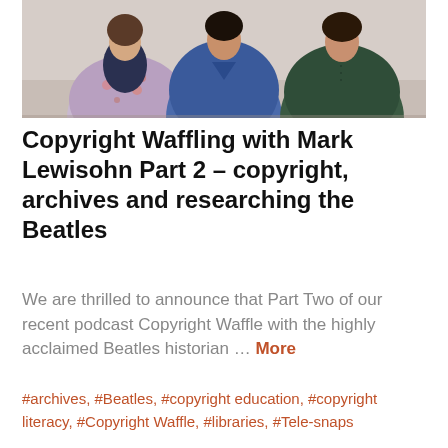[Figure (photo): Three people standing together posing for a photo. Left person wearing a floral jacket with a dark scarf, middle person in a blue top, right person in a dark green shirt.]
Copyright Waffling with Mark Lewisohn Part 2 – copyright, archives and researching the Beatles
We are thrilled to announce that Part Two of our recent podcast Copyright Waffle with the highly acclaimed Beatles historian … More
#archives, #Beatles, #copyright education, #copyright literacy, #Copyright Waffle, #libraries, #Tele-snaps